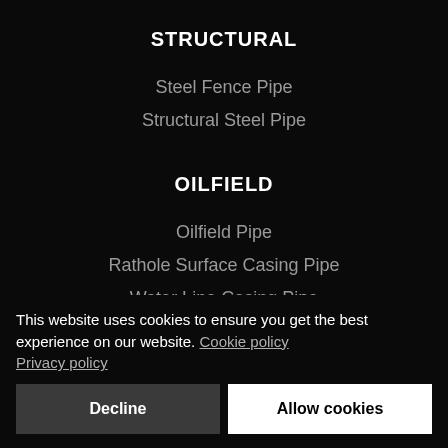STRUCTURAL
Steel Fence Pipe
Structural Steel Pipe
OILFIELD
Oilfield Pipe
Rathole Surface Casing Pipe
Water Line Casing Pipe
This website uses cookies to ensure you get the best experience on our website. Cookie policy Privacy policy
Decline | Allow cookies